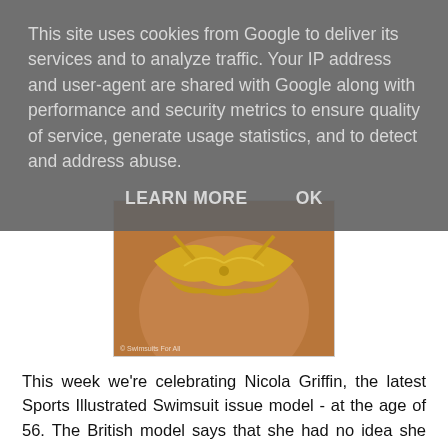This site uses cookies from Google to deliver its services and to analyze traffic. Your IP address and user-agent are shared with Google along with performance and security metrics to ensure quality of service, generate usage statistics, and to detect and address abuse.
LEARN MORE    OK
[Figure (photo): Cropped photo of a woman wearing a gold/yellow bikini top, showing torso area. The image has a watermark at the bottom left.]
This week we're celebrating Nicola Griffin, the latest Sports Illustrated Swimsuit issue model - at the age of 56. The British model says that she had no idea she was being photographed for Sports Illustrated and equally had no idea how big the magazine was in the USA. As she puts it herself, she's still in shock! But she's also excited about the effect her image might have, 'Young girls open magazines and it influences them so much about body image. I particularly think it's very good for them to see different sized women, because otherwise they can feel bad about themselves if they don't look like the models they are constantly viewing.'